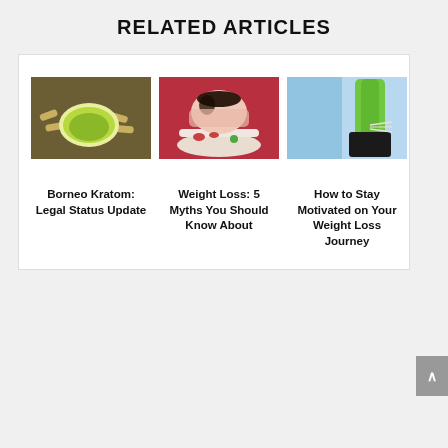RELATED ARTICLES
[Figure (photo): Kratom powder in a white bowl with kratom capsules on a dark surface]
[Figure (photo): Woman lying her head on a table with a plate of salad and tomatoes]
[Figure (photo): Woman in green sports bra and black shorts measuring her waist with a tape measure]
Borneo Kratom: Legal Status Update
Weight Loss: 5 Myths You Should Know About
How to Stay Motivated on Your Weight Loss Journey